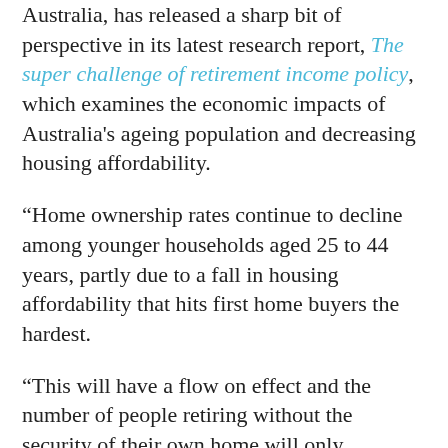Australia, has released a sharp bit of perspective in its latest research report, The super challenge of retirement income policy, which examines the economic impacts of Australia’s ageing population and decreasing housing affordability.
“Home ownership rates continue to decline among younger households aged 25 to 44 years, partly due to a fall in housing affordability that hits first home buyers the hardest.
“This will have a flow on effect and the number of people retiring without the security of their own home will only increase.”
The chief concern for the Australian economy as a whole, and these non-